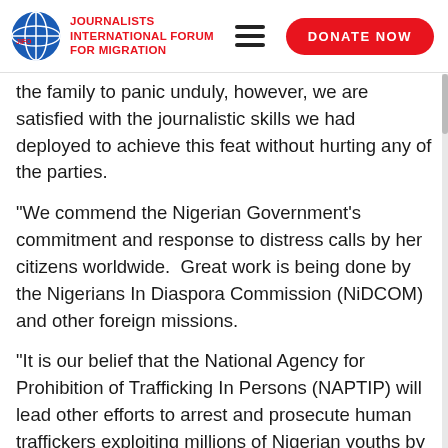JOURNALISTS INTERNATIONAL FORUM FOR MIGRATION
the family to panic unduly, however, we are satisfied with the journalistic skills we had deployed to achieve this feat without hurting any of the parties.
“We commend the Nigerian Government’s commitment and response to distress calls by her citizens worldwide.  Great work is being done by the Nigerians In Diaspora Commission (NiDCOM) and other foreign missions.
“It is our belief that the National Agency for Prohibition of Trafficking In Persons (NAPTIP) will lead other efforts to arrest and prosecute human traffickers exploiting millions of Nigerian youths by capitalising on their innocence.
“Our doors are always opened to consultation and collaboration aimed at serving humanity in order to further open the economic space for the empowerment of all segments of the society to stem all forms of irregular